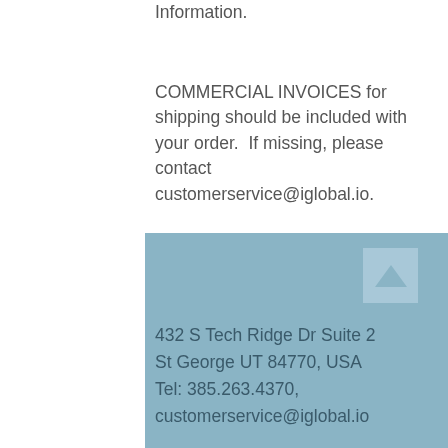Information.
COMMERCIAL INVOICES for shipping should be included with your order.  If missing, please contact customerservice@iglobal.io.
If you need to return a damaged or incorrect part, please email us photos of the product and invoice to customerservice@iglobal.io
432 S Tech Ridge Dr Suite 2
St George UT 84770, USA
Tel: 385.263.4370,
customerservice@iglobal.io